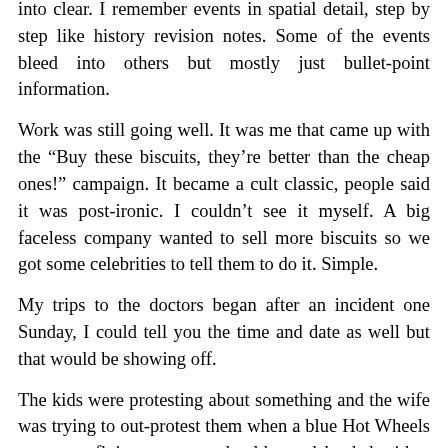into clear. I remember events in spatial detail, step by step like history revision notes. Some of the events bleed into others but mostly just bullet-point information.
Work was still going well. It was me that came up with the "Buy these biscuits, they're better than the cheap ones!" campaign. It became a cult classic, people said it was post-ironic. I couldn't see it myself. A big faceless company wanted to sell more biscuits so we got some celebrities to tell them to do it. Simple.
My trips to the doctors began after an incident one Sunday, I could tell you the time and date as well but that would be showing off.
The kids were protesting about something and the wife was trying to out-protest them when a blue Hot Wheels car came flying over my shoulder and landed with a plop in the chip pan. I first looked down at my shirt, one of my favourite Fred Perrys. Then an explosion of tears from the youngest boy and the realisation that the car was bobbing around with the potatoes, slowly sinking. I plunged my hand in and snatched